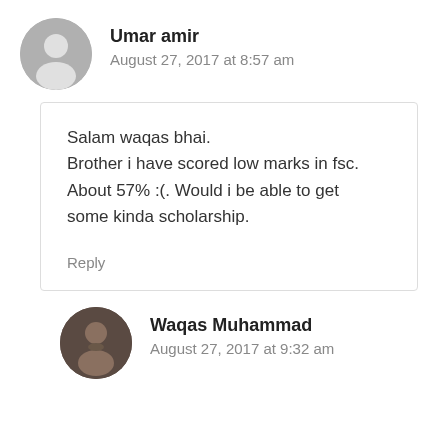Umar amir
August 27, 2017 at 8:57 am
Salam waqas bhai.
Brother i have scored low marks in fsc. About 57% :(. Would i be able to get some kinda scholarship.
Reply
Waqas Muhammad
August 27, 2017 at 9:32 am